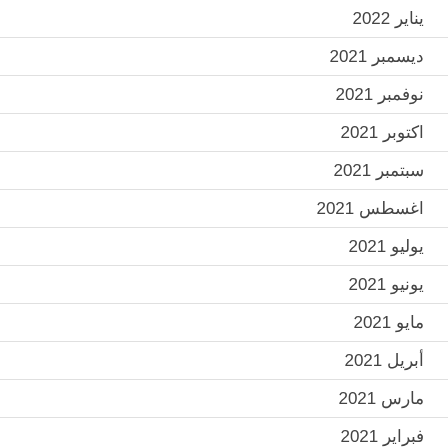يناير 2022
ديسمبر 2021
نوفمبر 2021
اكتوبر 2021
سبتمبر 2021
اغسطس 2021
يوليو 2021
يونيو 2021
مايو 2021
أبريل 2021
مارس 2021
فبراير 2021
يناير 2021
ديسمبر 2020
نوفمبر 2020